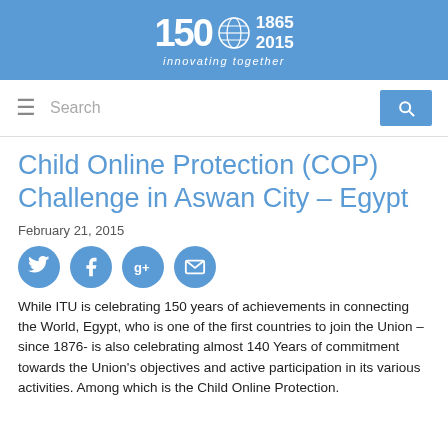150 ITU 1865 2015 innovating together
Search
Child Online Protection (COP) Challenge in Aswan City – Egypt
February 21, 2015
[Figure (other): Social media sharing icons: Twitter, Facebook, Google+, Email]
While ITU is celebrating 150 years of achievements in connecting the World, Egypt, who is one of the first countries to join the Union – since 1876- is also celebrating almost 140 Years of commitment towards the Union's objectives and active participation in its various activities. Among which is the Child Online Protection.